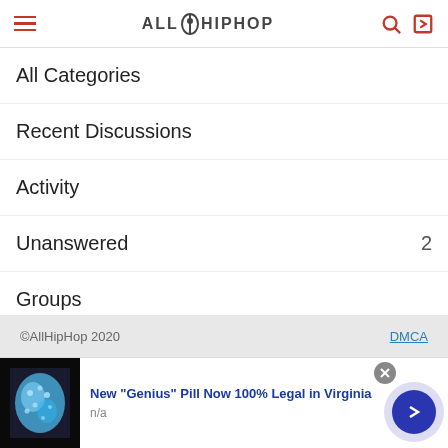AllHipHop navigation header with hamburger menu, logo, search and login icons
All Categories
Recent Discussions
Activity
Unanswered  2
Groups
Unanswered  2
Best Of
©AllHipHop 2020  DMCA
[Figure (screenshot): Advertisement banner: image of blue pill/substance on left, text 'New "Genius" Pill Now 100% Legal in Virginia', subtext 'n/a', with close button and forward arrow button]